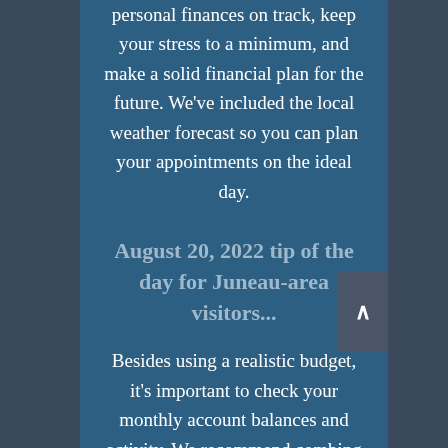personal finances on track, keep your stress to a minimum, and make a solid financial plan for the future. We've included the local weather forecast so you can plan your appointments on the ideal day.
August 20, 2022 tip of the day for Juneau-area visitors...
Besides using a realistic budget, it's important to check your monthly account balances and activity. We recommend combing through all of